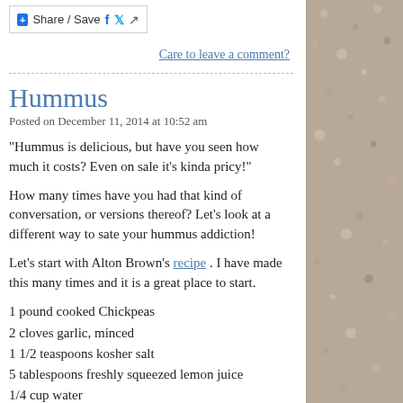Share / Save
Care to leave a comment?
Hummus
Posted on December 11, 2014 at 10:52 am
“Hummus is delicious, but have you seen how much it costs? Even on sale it's kinda pricy!”
How many times have you had that kind of conversation, or versions thereof? Let’s look at a different way to sate your hummus addiction!
Let’s start with Alton Brown’s recipe . I have made this many times and it is a great place to start.
1 pound cooked Chickpeas
2 cloves garlic, minced
1 1/2 teaspoons kosher salt
5 tablespoons freshly squeezed lemon juice
1/4 cup water